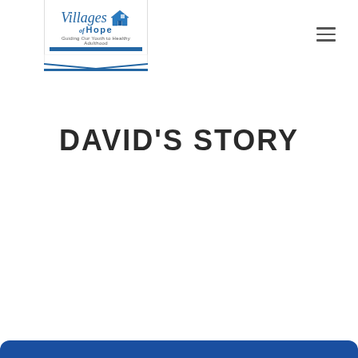[Figure (logo): Villages of Hope logo — ribbon-style white badge with blue text 'Villages of Hope', a house icon, tagline 'Guiding Our Youth to Healthy Adulthood', and a blue bar at the bottom.]
DAVID'S STORY